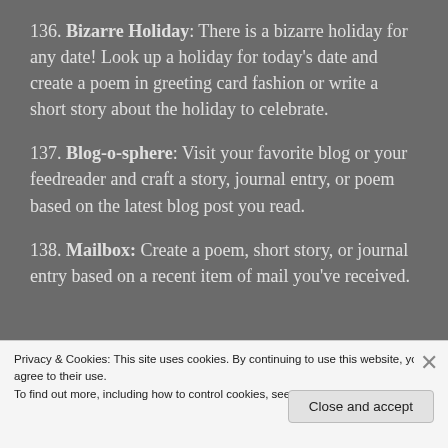136. Bizarre Holiday: There is a bizarre holiday for any date! Look up a holiday for today's date and create a poem in greeting card fashion or write a short story about the holiday to celebrate.
137. Blog-o-sphere: Visit your favorite blog or your feedreader and craft a story, journal entry, or poem based on the latest blog post you read.
138. Mailbox: Create a poem, short story, or journal entry based on a recent item of mail you've received.
Privacy & Cookies: This site uses cookies. By continuing to use this website, you agree to their use.
To find out more, including how to control cookies, see here: Cookie Policy
Close and accept